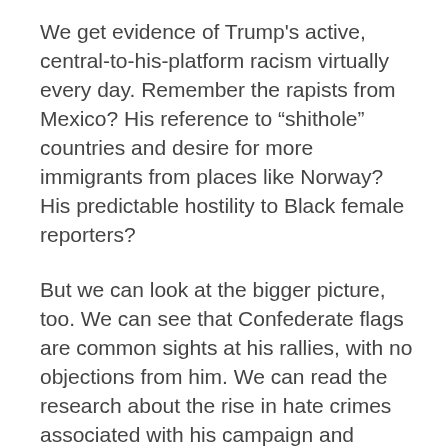We get evidence of Trump's active, central-to-his-platform racism virtually every day. Remember the rapists from Mexico? His reference to “shithole” countries and desire for more immigrants from places like Norway? His predictable hostility to Black female reporters?
But we can look at the bigger picture, too. We can see that Confederate flags are common sights at his rallies, with no objections from him. We can read the research about the rise in hate crimes associated with his campaign and presidency:
President Trump’s election was associated with a statistically significant